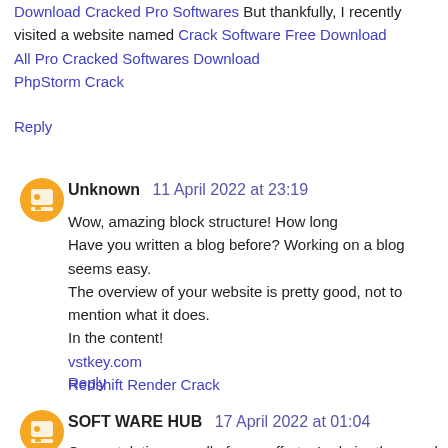Download Cracked Pro Softwares But thankfully, I recently visited a website named Crack Software Free Download All Pro Cracked Softwares Download PhpStorm Crack
Reply
Unknown 11 April 2022 at 23:19
Wow, amazing block structure! How long Have you written a blog before? Working on a blog seems easy. The overview of your website is pretty good, not to mention what it does. In the content! vstkey.com Redshift Render Crack
Reply
SOFT WARE HUB 17 April 2022 at 01:04
Congratulations on all of your efforts; I admire them and